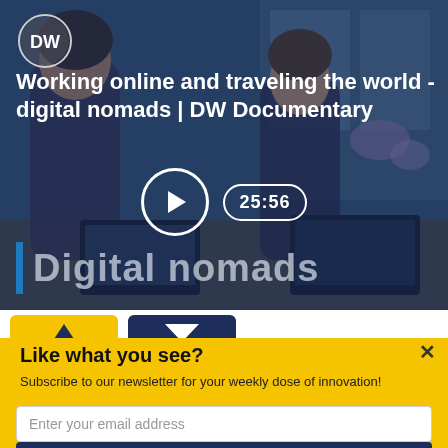[Figure (screenshot): DW Documentary video thumbnail showing two women working on laptops outdoors with a dark blue overlay. DW logo in top left. Title text 'Working online and traveling the world - digital nomads | DW Documentary'. Play button circle and '25:56' duration badge in center. 'Digital nomads' text with blue vertical bar at bottom left.]
Working online and traveling the world - digital nomads | DW Documentary
Like what you see?
Subscribe to our newsletter for your weekly dose of innovation!
Enter your email address
Subscribe!